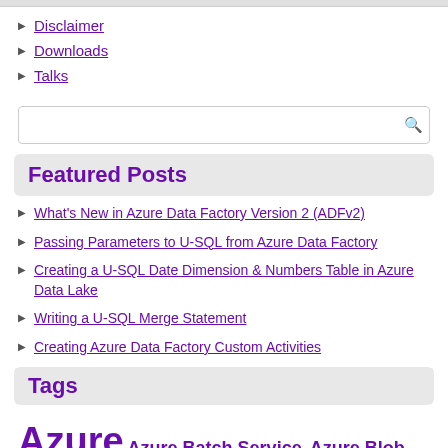Disclaimer
Downloads
Talks
Featured Posts
What's New in Azure Data Factory Version 2 (ADFv2)
Passing Parameters to U-SQL from Azure Data Factory
Creating a U-SQL Date Dimension & Numbers Table in Azure Data Lake
Writing a U-SQL Merge Statement
Creating Azure Data Factory Custom Activities
Tags
Azure  Azure Batch Service  Azure Blob Storage  Azure